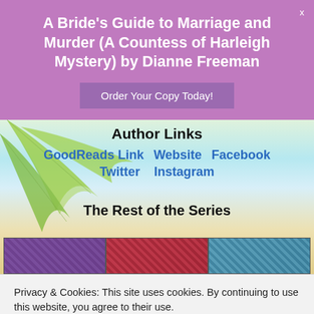A Bride's Guide to Marriage and Murder (A Countess of Harleigh Mystery) by Dianne Freeman
Order Your Copy Today!
Author Links
GoodReads Link   Website   Facebook   Twitter   Instagram
The Rest of the Series
[Figure (photo): Three book covers from the Countess of Harleigh Mystery series shown partially at the bottom]
Privacy & Cookies: This site uses cookies. By continuing to use this website, you agree to their use.
To find out more, including how to control cookies, see here:
Cookie Policy
Close and accept